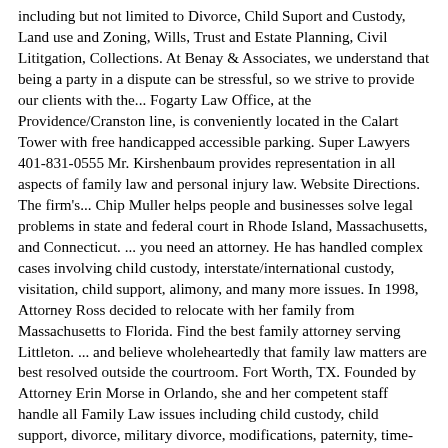including but not limited to Divorce, Child Suport and Custody, Land use and Zoning, Wills, Trust and Estate Planning, Civil Lititgation, Collections. At Benay & Associates, we understand that being a party in a dispute can be stressful, so we strive to provide our clients with the... Fogarty Law Office, at the Providence/Cranston line, is conveniently located in the Calart Tower with free handicapped accessible parking. Super Lawyers 401-831-0555 Mr. Kirshenbaum provides representation in all aspects of family law and personal injury law. Website Directions. The firm's... Chip Muller helps people and businesses solve legal problems in state and federal court in Rhode Island, Massachusetts, and Connecticut. ... you need an attorney. He has handled complex cases involving child custody, interstate/international custody, visitation, child support, alimony, and many more issues. In 1998, Attorney Ross decided to relocate with her family from Massachusetts to Florida. Find the best family attorney serving Littleton. ... and believe wholeheartedly that family law matters are best resolved outside the courtroom. Fort Worth, TX. Founded by Attorney Erin Morse in Orlando, she and her competent staff handle all Family Law issues including child custody, child support, divorce, military divorce, modifications, paternity, time-sharing & visitation. This can include working on cases that involve visitation rights, parental responsibility, child support, conflicts between parents and custody matters with the extended family. Use Super Lawyers to hire a local family lawyer to help with your family legal issues and disputes. Last Updated January